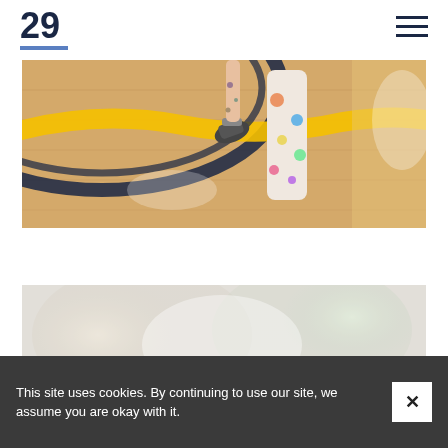29
[Figure (photo): Close-up photo of a person's legs running or jumping on a basketball court with blue and yellow court markings, wearing colorful patterned socks and athletic shoes]
[Figure (photo): Blurred/bokeh photo of an indoor space with soft light, possibly a gym or sporting facility]
This site uses cookies. By continuing to use our site, we assume you are okay with it.